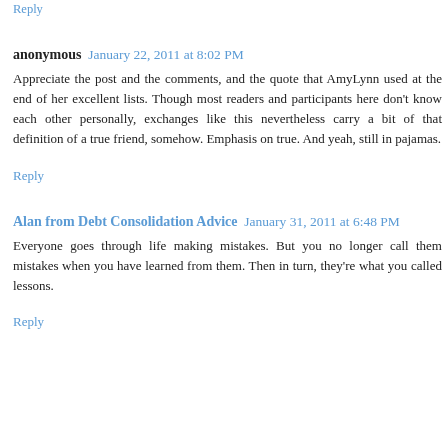Reply
anonymous  January 22, 2011 at 8:02 PM
Appreciate the post and the comments, and the quote that AmyLynn used at the end of her excellent lists. Though most readers and participants here don't know each other personally, exchanges like this nevertheless carry a bit of that definition of a true friend, somehow. Emphasis on true. And yeah, still in pajamas.
Reply
Alan from Debt Consolidation Advice  January 31, 2011 at 6:48 PM
Everyone goes through life making mistakes. But you no longer call them mistakes when you have learned from them. Then in turn, they're what you called lessons.
Reply